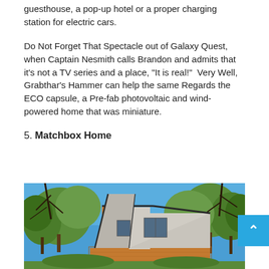guesthouse, a pop-up hotel or a proper charging station for electric cars.
Do Not Forget That Spectacle out of Galaxy Quest, when Captain Nesmith calls Brandon and admits that it's not a TV series and a place, "It is real!"  Very Well, Grabthar's Hammer can help the same Regards the ECO capsule, a Pre-fab photovoltaic and wind-powered home that was miniature.
5. Matchbox Home
[Figure (photo): Exterior photo of Matchbox Home, a modern prefab house with a steep triangular roofline clad in wood and light grey panels, with large windows, surrounded by trees under a blue sky.]